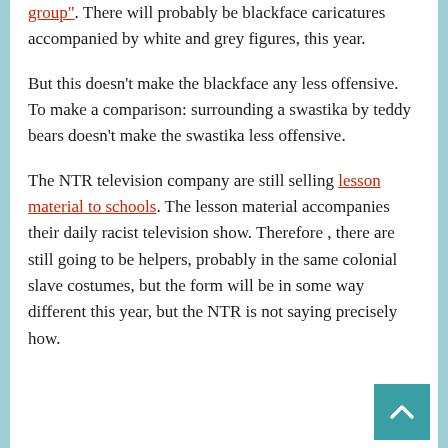group". There will probably be blackface caricatures accompanied by white and grey figures, this year.
But this doesn't make the blackface any less offensive. To make a comparison: surrounding a swastika by teddy bears doesn't make the swastika less offensive.
The NTR television company are still selling lesson material to schools. The lesson material accompanies their daily racist television show. Therefore , there are still going to be helpers, probably in the same colonial slave costumes, but the form will be in some way different this year, but the NTR is not saying precisely how.